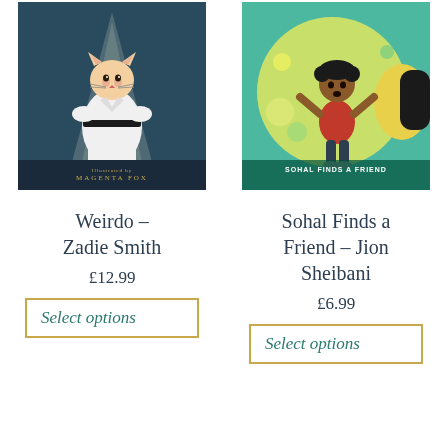[Figure (illustration): Book cover for Weirdo by Zadie Smith, illustrated by Magenta Fox. Shows a cat in a white karate gi with black belt, standing in a spotlight on a dark teal background. Bottom text reads 'illustrated by Magenta Fox'.]
Weirdo – Zadie Smith
£12.99
Select options
[Figure (illustration): Book cover for Sohal Finds a Friend by Jion Sheibani. Shows a boy in a red shirt surrounded by fantasy creatures on a yellow-green background. Title 'Sohal Finds a Friend' at bottom.]
Sohal Finds a Friend – Jion Sheibani
£6.99
Select options